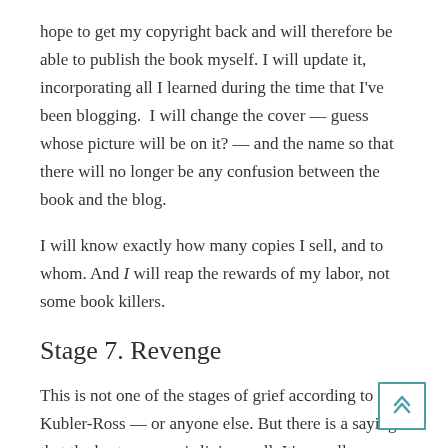hope to get my copyright back and will therefore be able to publish the book myself. I will update it, incorporating all I learned during the time that I've been blogging.  I will change the cover — guess whose picture will be on it? — and the name so that there will no longer be any confusion between the book and the blog.
I will know exactly how many copies I sell, and to whom. And I will reap the rewards of my labor, not some book killers.
Stage 7. Revenge
This is not one of the stages of grief according to Kubler-Ross — or anyone else. But there is a saying that the best revenge is living well. It's usually applied to divorce, but why not extend it to loss in general?